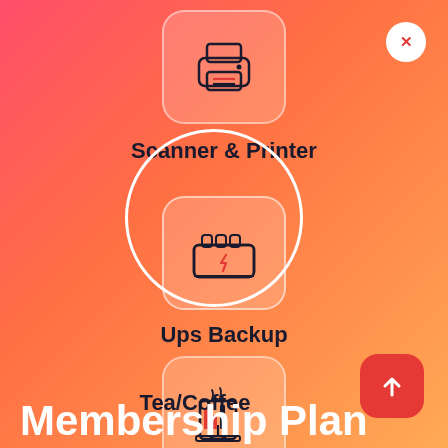[Figure (screenshot): Mobile app UI screen showing membership plan amenities. Background is a coral-to-orange gradient. Three amenity icons shown: Scanner & Printer (printer icon, top center), Ups Backup (UPS battery icon, middle center, highlighted with white circle), Tea/Coffee (coffee machine icon, bottom center). A white close button (X) is top right. A pink/red up-arrow button is bottom right. 'Membership Plan' heading appears at the bottom.]
Scanner & Printer
Ups Backup
Tea/Coffee
Membership Plan